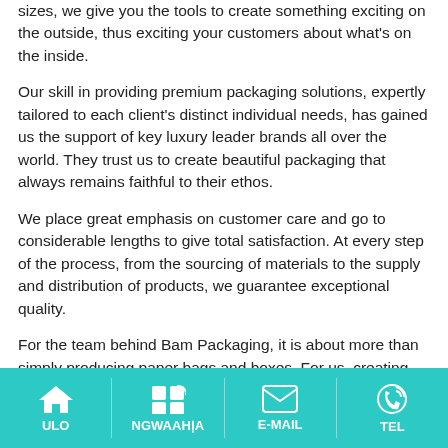sizes, we give you the tools to create something exciting on the outside, thus exciting your customers about what's on the inside.
Our skill in providing premium packaging solutions, expertly tailored to each client's distinct individual needs, has gained us the support of key luxury leader brands all over the world. They trust us to create beautiful packaging that always remains faithful to their ethos.
We place great emphasis on customer care and go to considerable lengths to give total satisfaction. At every step of the process, from the sourcing of materials to the supply and distribution of products, we guarantee exceptional quality.
For the team behind Bam Packaging, it is about more than simply producing paper bags and boxes. For us, creating prestige packaging solutions is about embodying the very ethos of a company. It's about making sure the brand is recognizable, and most importantly, that it is sought after by its target clientele. We have an unwavering passion for luxury brands, and we recognize that
ULO | NGWAAHIA | E-MAIL | TEL